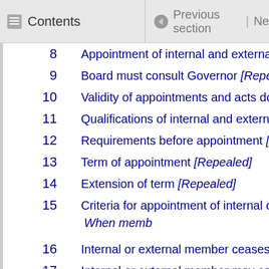Contents | Previous section | Ne
8  Appointment of internal and external mem
9  Board must consult Governor [Repealed]
10  Validity of appointments and acts done by
11  Qualifications of internal and external me
12  Requirements before appointment [Repea
13  Term of appointment [Repealed]
14  Extension of term [Repealed]
15  Criteria for appointment of internal or ext
When memb
16  Internal or external member ceases to hol
17  Internal or external member may continue
18  Resignation of internal or external membe
19  Removal of internal or external member [
20  Other provisions relating to removal [Rep
21  No compensation for loss of office [Rep